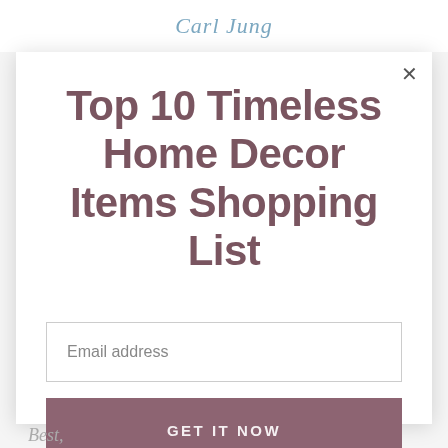Carl Jung
Top 10 Timeless Home Decor Items Shopping List
Email address
GET IT NOW
Best,